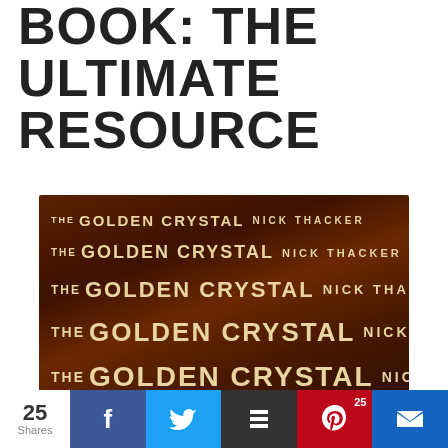BOOK: THE ULTIMATE RESOURCE
[Figure (photo): Stack of 5 copies of 'The Golden Crystal' by Nick Thacker, showing book spines stacked on top of each other, brown/dark red covers with cream lettering]
I've been going around and around with numerous book
25 Shares | Facebook | Twitter | Buffer | Pinterest 25 | Misfit